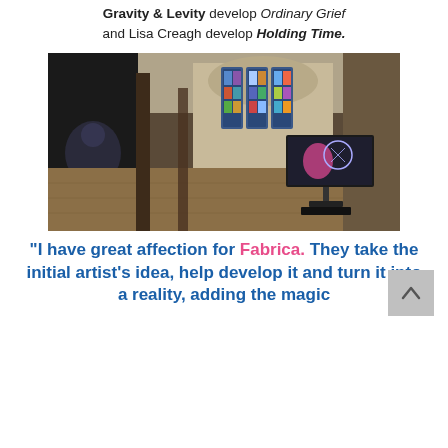Gravity & Levity develop Ordinary Grief and Lisa Creagh develop Holding Time.
[Figure (photo): Interior of a church-like gallery space with wooden floors, tall pillars, stained glass windows at the far end, a large dark projection screen on the left wall, and a freestanding monitor on a stand displaying an animated figure with geometric motifs on the right side.]
"I have great affection for Fabrica. They take the initial artist's idea, help develop it and turn it into a reality, adding the magic